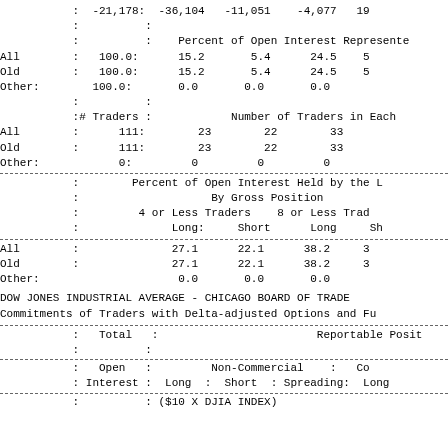|  | : | -21,178: | -36,104 | -11,051 | -4,077 | 19 |
|  | : | : |  |  |  |  |
|  | : | : | Percent of Open Interest Represented |  |  |  |
| All | : | 100.0: | 15.2 | 5.4 | 24.5 | 5 |
| Old | : | 100.0: | 15.2 | 5.4 | 24.5 | 5 |
| Other: |  | 100.0: | 0.0 | 0.0 | 0.0 |  |
|  | : | : |  |  |  |  |
|  | : | # Traders : |  | Number of Traders in Each |  |  |
| All | : | 111: | 23 | 22 | 33 |  |
| Old | : | 111: | 23 | 22 | 33 |  |
| Other: |  | 0: | 0 | 0 | 0 |  |
|  | : | Percent of Open Interest Held by the Largest |  |  |  |
|  | : | By Gross Position |  |  |  |
|  | : | 4 or Less Traders |  | 8 or Less Traders |  |
|  | : | Long: | Short | Long | Short |
| All | : | 27.1 | 22.1 | 38.2 | 3 |
| Old | : | 27.1 | 22.1 | 38.2 | 3 |
| Other: |  | 0.0 | 0.0 | 0.0 |  |
DOW JONES INDUSTRIAL AVERAGE - CHICAGO BOARD OF TRADE
Commitments of Traders with Delta-adjusted Options and Fu
| Total | Reportable Positions |
| --- | --- |
| Open Interest | Long | Short | Spreading: | Long |
| ($10 X DJIA INDEX) |  |  |  |  |